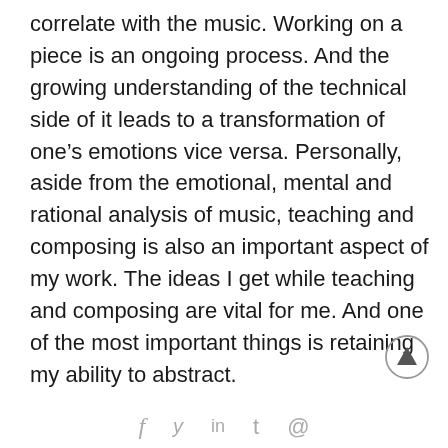correlate with the music. Working on a piece is an ongoing process. And the growing understanding of the technical side of it leads to a transformation of one’s emotions vice versa. Personally, aside from the emotional, mental and rational analysis of music, teaching and composing is also an important aspect of my work. The ideas I get while teaching and composing are vital for me. And one of the most important things is retaining my ability to abstract.
[Figure (other): Scroll-to-top button: circle with upward-pointing triangle/arrow inside]
f  y  in  t  @